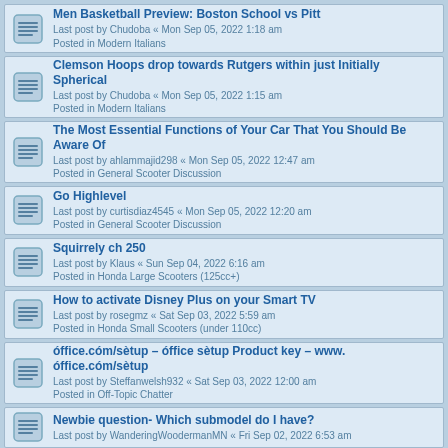Men Basketball Preview: Boston School vs Pitt
Last post by Chudoba « Mon Sep 05, 2022 1:18 am
Posted in Modern Italians
Clemson Hoops drop towards Rutgers within just Initially Spherical
Last post by Chudoba « Mon Sep 05, 2022 1:15 am
Posted in Modern Italians
The Most Essential Functions of Your Car That You Should Be Aware Of
Last post by ahlammajid298 « Mon Sep 05, 2022 12:47 am
Posted in General Scooter Discussion
Go Highlevel
Last post by curtisdiaz4545 « Mon Sep 05, 2022 12:20 am
Posted in General Scooter Discussion
Squirrely ch 250
Last post by Klaus « Sun Sep 04, 2022 6:16 am
Posted in Honda Large Scooters (125cc+)
How to activate Disney Plus on your Smart TV
Last post by rosegmz « Sat Sep 03, 2022 5:59 am
Posted in Honda Small Scooters (under 110cc)
óffice.cóm/sètup – óffice sètup Product key – www.óffice.cóm/sètup
Last post by Steffanwelsh932 « Sat Sep 03, 2022 12:00 am
Posted in Off-Topic Chatter
Newbie question- Which submodel do I have?
Last post by WanderingWoodermanMN « Fri Sep 02, 2022 6:53 am